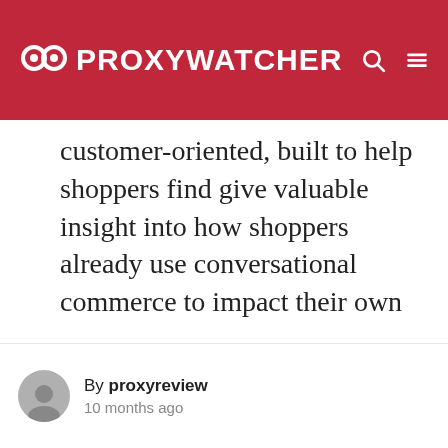PROXYWATCHER
customer-oriented, built to help shoppers find give valuable insight into how shoppers already use conversational commerce to impact their own customer experience. [Tweet “Connect with your customers at any time, on any device, and at any point in the customer journey.”]7. MagicMagic promises to get anything done for the user with a mix of software and human assistants–from scheduling appointments to setting travel plans to placing online bot’s breadth makes it a
By proxyreview
10 months ago